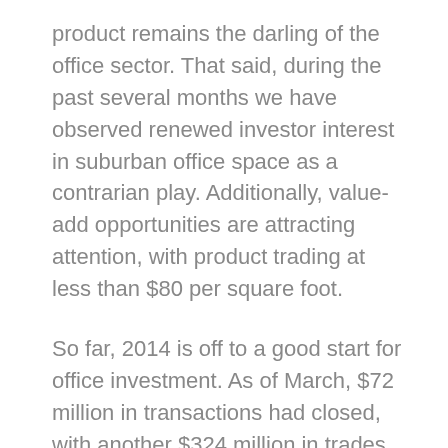product remains the darling of the office sector. That said, during the past several months we have observed renewed investor interest in suburban office space as a contrarian play. Additionally, value-add opportunities are attracting attention, with product trading at less than $80 per square foot.
So far, 2014 is off to a good start for office investment. As of March, $72 million in transactions had closed, with another $324 million in trades under contract.
MULTIFAMILY